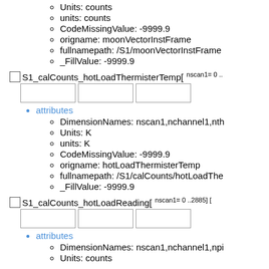Units: counts
units: counts
CodeMissingValue: -9999.9
origname: moonVectorInstFrame
fullnamepath: /S1/moonVectorInstFrame
_FillValue: -9999.9
S1_calCounts_hotLoadThermisterTemp[ nscan1= 0 ..
attributes
DimensionNames: nscan1,nchannel1,nth
Units: K
units: K
CodeMissingValue: -9999.9
origname: hotLoadThermisterTemp
fullnamepath: /S1/calCounts/hotLoadThe
_FillValue: -9999.9
S1_calCounts_hotLoadReading[ nscan1= 0 ..2885] [
attributes
DimensionNames: nscan1,nchannel1,npi
Units: counts